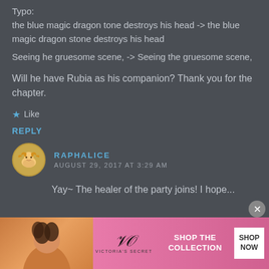Typo:
the blue magic dragon tone destroys his head -> the blue magic dragon stone destroys his head
Seeing he gruesome scene, -> Seeing the gruesome scene,
Will he have Rubia as his companion? Thank you for the chapter.
Like
REPLY
RAPHALICE
AUGUST 29, 2017 AT 3:29 AM
Yay~ The healer of the party joins! I hope...
[Figure (illustration): Victoria's Secret advertisement banner with model, VS logo, 'SHOP THE COLLECTION' text and 'SHOP NOW' button]